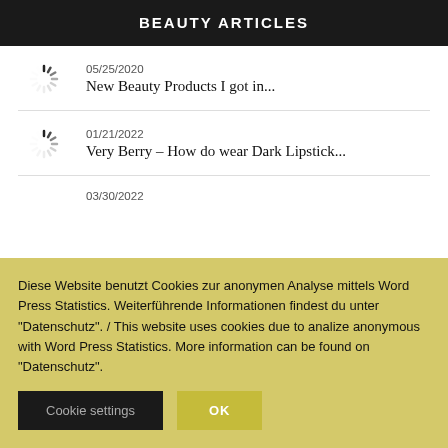BEAUTY ARTICLES
05/25/2020
New Beauty Products I got in...
01/21/2022
Very Berry – How do wear Dark Lipstick...
03/30/2022
Diese Website benutzt Cookies zur anonymen Analyse mittels Word Press Statistics. Weiterführende Informationen findest du unter "Datenschutz". / This website uses cookies due to analize anonymous with Word Press Statistics. More information can be found on "Datenschutz".
Cookie settings  OK